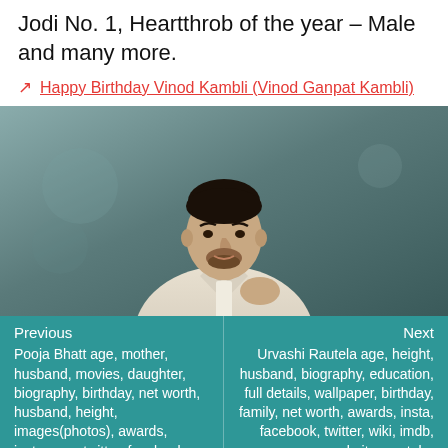Jodi No. 1, Heartthrob of the year – Male and many more.
Happy Birthday Vinod Kambli (Vinod Ganpat Kambli)
[Figure (photo): A young man in a white suit jacket posing against a dark grey background]
Previous
Pooja Bhatt age, mother, husband, movies, daughter, biography, birthday, net worth, husband, height, images(photos), awards, instagram, twitter, facebook, wiki, imdb
Next
Urvashi Rautela age, height, husband, biography, education, full details, wallpaper, birthday, family, net worth, awards, insta, facebook, twitter, wiki, imdb, website, youtube